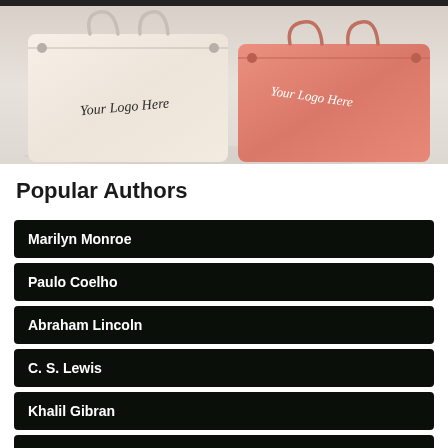[Figure (photo): Two fabric drawstring bags with 'Your Logo Here' printed on them — one cream/beige colored and one coral/salmon colored — displayed on a white surface.]
Popular Authors
Marilyn Monroe
Paulo Coelho
Abraham Lincoln
C. S. Lewis
Khalil Gibran
Charlie Chaplin
Gautama Buddha